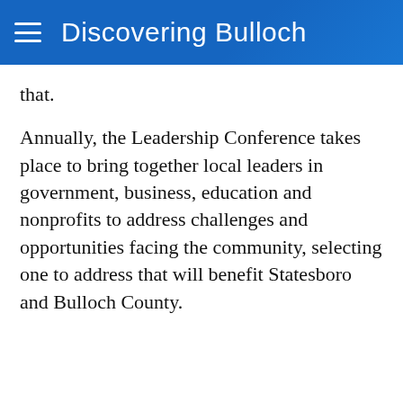Discovering Bulloch
that.
Annually, the Leadership Conference takes place to bring together local leaders in government, business, education and nonprofits to address challenges and opportunities facing the community, selecting one to address that will benefit Statesboro and Bulloch County.